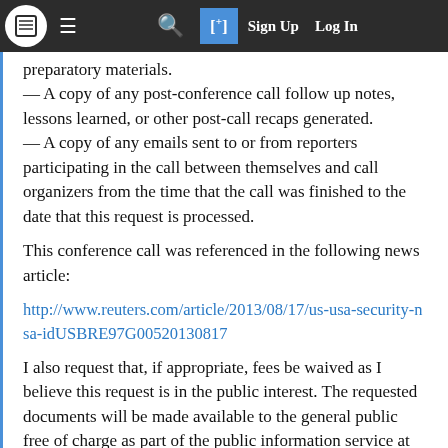Navigation bar with logo, menu, search, sign up, log in
preparatory materials.
— A copy of any post-conference call follow up notes, lessons learned, or other post-call recaps generated.
— A copy of any emails sent to or from reporters participating in the call between themselves and call organizers from the time that the call was finished to the date that this request is processed.
This conference call was referenced in the following news article:
http://www.reuters.com/article/2013/08/17/us-usa-security-nsa-idUSBRE97G00520130817
I also request that, if appropriate, fees be waived as I believe this request is in the public interest. The requested documents will be made available to the general public free of charge as part of the public information service at